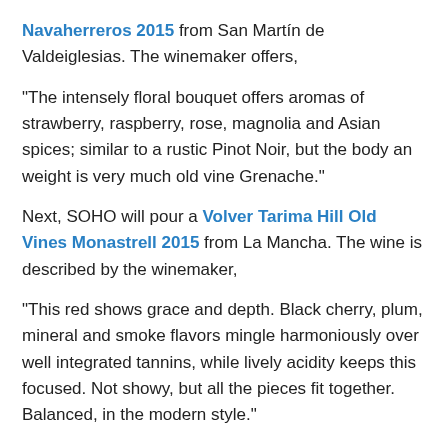Navaherreros 2015 from San Martín de Valdeiglesias. The winemaker offers,
“The intensely floral bouquet offers aromas of strawberry, raspberry, rose, magnolia and Asian spices; similar to a rustic Pinot Noir, but the body an weight is very much old vine Grenache.”
Next, SOHO will pour a Volver Tarima Hill Old Vines Monastrell 2015 from La Mancha. The wine is described by the winemaker,
“This red shows grace and depth. Black cherry, plum, mineral and smoke flavors mingle harmoniously over well integrated tannins, while lively acidity keeps this focused. Not showy, but all the pieces fit together. Balanced, in the modern style.”